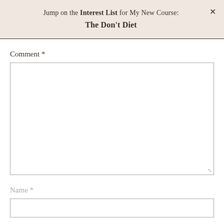Jump on the Interest List for My New Course: The Don't Diet
Comment *
[Figure (other): Empty comment text area input box]
Name *
[Figure (other): Empty name text input box]